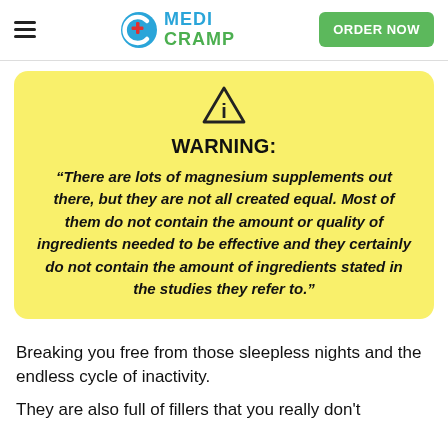MEDI CRAMP | ORDER NOW
WARNING: “There are lots of magnesium supplements out there, but they are not all created equal. Most of them do not contain the amount or quality of ingredients needed to be effective and they certainly do not contain the amount of ingredients stated in the studies they refer to.”
Breaking you free from those sleepless nights and the endless cycle of inactivity.
They are also full of fillers that you really don’t